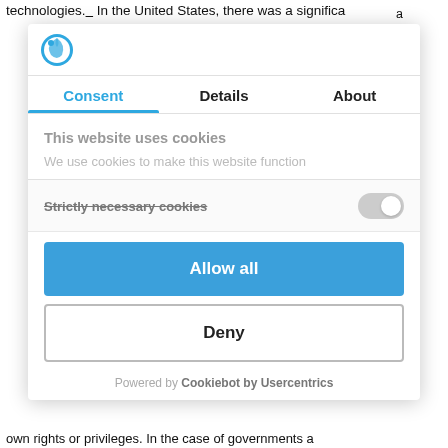technologies.__ In the United States, there was a significa
[Figure (screenshot): Cookie consent modal dialog with Cookiebot by Usercentrics branding, showing Consent/Details/About tabs, 'This website uses cookies' message, 'We use cookies to make this website function' description, Strictly necessary cookies section with toggle, Allow all button (blue), Deny button (outlined), and Powered by Cookiebot by Usercentrics footer.]
Powered by Cookiebot by Usercentrics
own rights or privileges. In the case of governments a